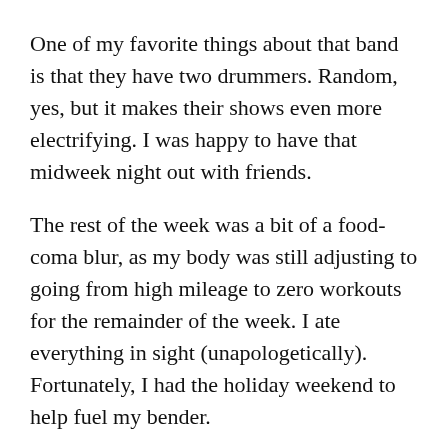One of my favorite things about that band is that they have two drummers. Random, yes, but it makes their shows even more electrifying. I was happy to have that midweek night out with friends.
The rest of the week was a bit of a food-coma blur, as my body was still adjusting to going from high mileage to zero workouts for the remainder of the week. I ate everything in sight (unapologetically). Fortunately, I had the holiday weekend to help fuel my bender.
Privacy & Cookies: This site uses cookies. By continuing to use this website, you agree to their use.
To find out more, including how to control cookies, see here: Cookie Policy
coconut cake.